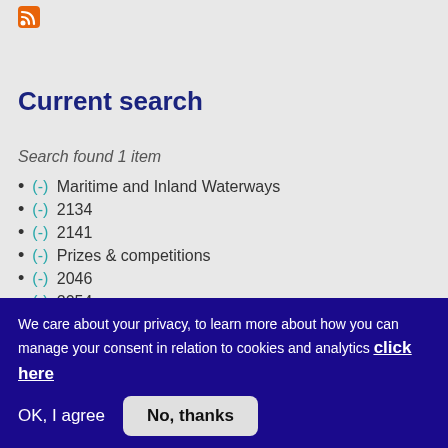[Figure (logo): RSS feed orange icon]
Current search
Search found 1 item
(-) Maritime and Inland Waterways
(-) 2134
(-) 2141
(-) Prizes & competitions
(-) 2046
(-) 2054
We care about your privacy, to learn more about how you can manage your consent in relation to cookies and analytics click here
OK, I agree
No, thanks